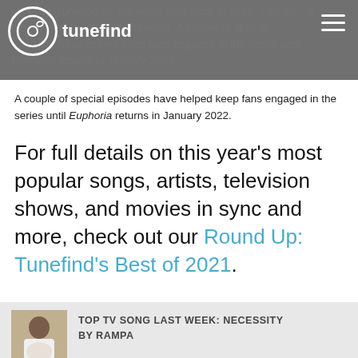tracks on Tunefind for the entire year back in 2019. This list...10 fan favorite songs from Euphoria. A couple of special episodes have helped keep fans engaged in the series until Euphoria returns in January 2022.
A couple of special episodes have helped keep fans engaged in the series until Euphoria returns in January 2022.
For full details on this year's most popular songs, artists, television shows, and movies in sync and more, check out our Round Up: Tunefind's Best of 2021.
[Figure (photo): Thumbnail photo of a person in a white shirt, used as album/show art for the Top TV Song Last Week section]
TOP TV SONG LAST WEEK: NECESSITY BY RAMPA